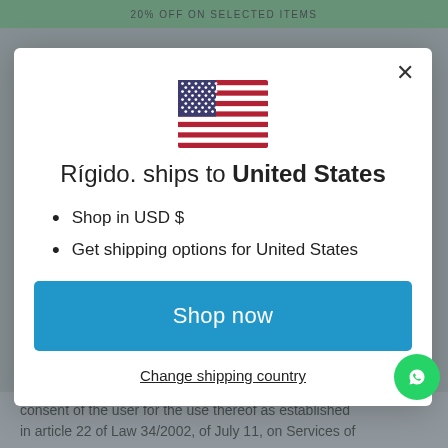20% OFF ON SELECTED ITEMS
[Figure (illustration): US flag emoji/icon centered in modal]
Rígido. ships to United States
Shop in USD $
Get shipping options for United States
Shop now
Change shipping country
consent of the user for the use thereof as established in article 22 of Law 34/2002, of July 11, on Services of